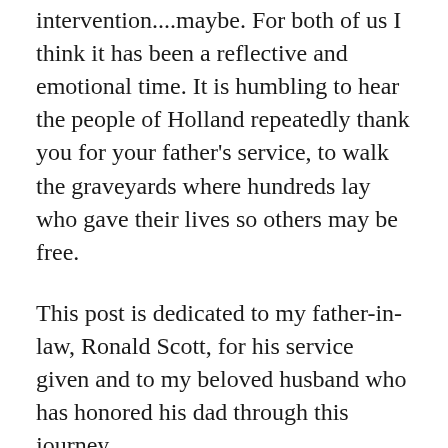intervention....maybe. For both of us I think it has been a reflective and emotional time. It is humbling to hear the people of Holland repeatedly thank you for your father's service, to walk the graveyards where hundreds lay who gave their lives so others may be free.
This post is dedicated to my father-in-law, Ronald Scott, for his service given and to my beloved husband who has honored his dad through this journey.